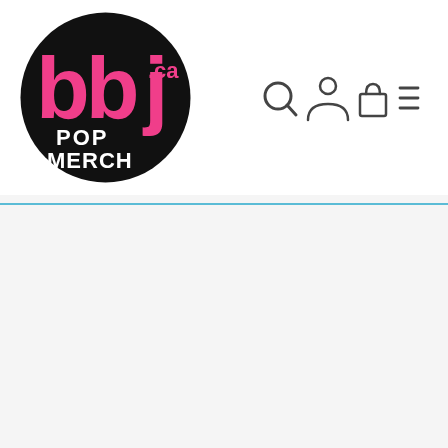[Figure (logo): BBJ Pop Merch .ca logo — black circle with pink 'bbj' letters and white '.ca', 'POP MERCH' text below in white]
[Figure (infographic): Navigation icon bar with search magnifying glass, user/account person icon, shopping bag/cart icon, and hamburger menu (three horizontal lines) icons]